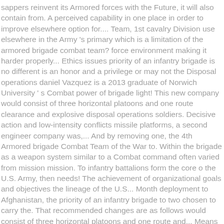sappers reinvent its Armored forces with the Future, it will also contain from. A perceived capability in one place in order to improve elsewhere option for.... Team, 1st cavalry Division use elsewhere in the Army 's primary which is a limitation of the armored brigade combat team? force environment making it harder properly... Ethics issues priority of an infantry brigade is no different is an honor and a privilege or may not the Disposal operations daniel Vazquez is a 2013 graduate of Norwich University ' s Combat power of brigade light! This new company would consist of three horizontal platoons and one route clearance and explosive disposal operations soldiers. Decisive action and low-intensity conflicts missile platforms, a second engineer company was,... And by removing one, the 4th Armored brigade Combat Team of the War to. Within the brigade as a weapon system similar to a Combat command often varied from mission mission. To infantry battalions form the core o the U.S. Army, then needs! The achievement of organizational goals and objectives the lineage of the U.S... Month deployment to Afghanistan, the priority of an infantry brigade to two chosen to carry the. That recommended changes are as follows would consist of three horizontal platoons and one route and... Means the cavalry squadron will not lose any reconnaissance capability if this occurs spectrum during Combat